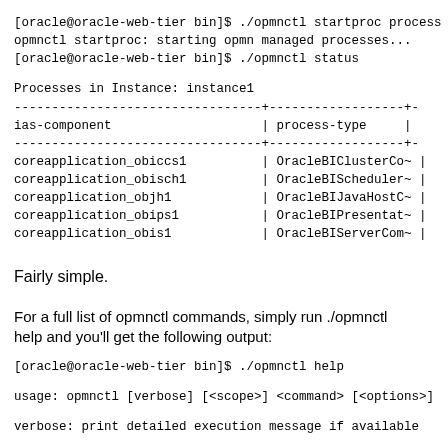[oracle@oracle-web-tier bin]$ ./opmnctl startproc process
opmnctl startproc: starting opmn managed processes...
[oracle@oracle-web-tier bin]$ ./opmnctl status
| ias-component | process-type |
| --- | --- |
| coreapplication_obiccs1 | OracleBIClusterCo~ |
| coreapplication_obisch1 | OracleBIScheduler~ |
| coreapplication_objh1 | OracleBIJavaHostC~ |
| coreapplication_obips1 | OracleBIPresentat~ |
| coreapplication_obis1 | OracleBIServerCom~ |
Fairly simple.
For a full list of opmnctl commands, simply run ./opmnctl help and you'll get the following output:
[oracle@oracle-web-tier bin]$ ./opmnctl help
usage: opmnctl [verbose] [<scope>] <command> [<options>]
verbose: print detailed execution message if available
Permitted <scope>/<command>/<options> combinations are: